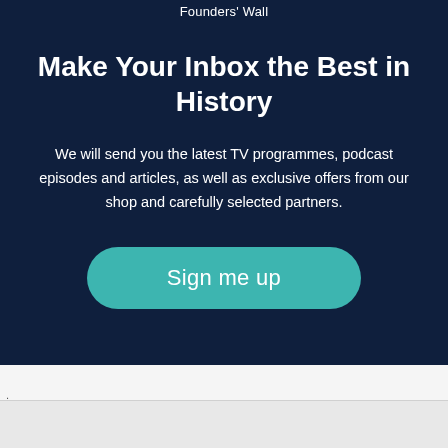Founders' Wall
Make Your Inbox the Best in History
We will send you the latest TV programmes, podcast episodes and articles, as well as exclusive offers from our shop and carefully selected partners.
Sign me up
.
AN ELITE CAFEMEDIA PUBLISHER